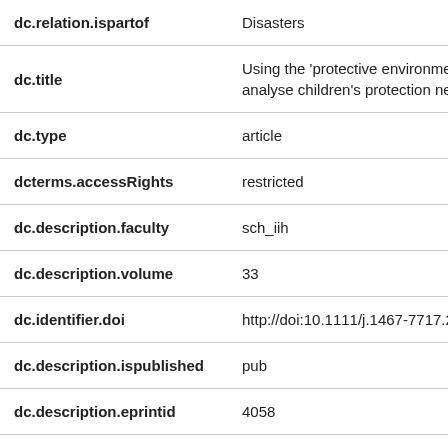| Field | Value |
| --- | --- |
| dc.relation.ispartof | Disasters |
| dc.title | Using the 'protective environment' to analyse children's protection needs |
| dc.type | article |
| dcterms.accessRights | restricted |
| dc.description.faculty | sch_iih |
| dc.description.volume | 33 |
| dc.identifier.doi | http://doi:10.1111/j.1467-7717.2008 |
| dc.description.ispublished | pub |
| dc.description.eprintid | 4058 |
| rioxxterms.type | article |
| qmu.author | Ager, Alastair |
| dc.description.status | pub |